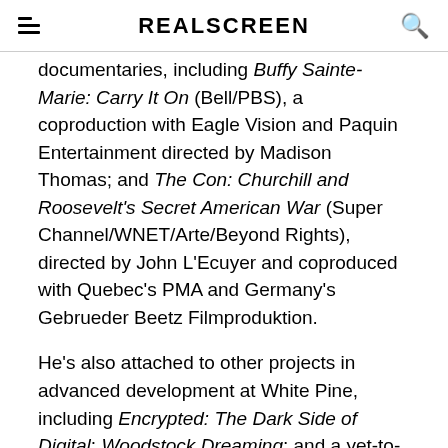REALSCREEN
documentaries, including Buffy Sainte-Marie: Carry It On (Bell/PBS), a coproduction with Eagle Vision and Paquin Entertainment directed by Madison Thomas; and The Con: Churchill and Roosevelt's Secret American War (Super Channel/WNET/Arte/Beyond Rights), directed by John L'Ecuyer and coproduced with Quebec's PMA and Germany's Gebrueder Beetz Filmproduktion.
He's also attached to other projects in advanced development at White Pine, including Encrypted: The Dark Side of Digital; Woodstock Dreaming; and a yet-to-